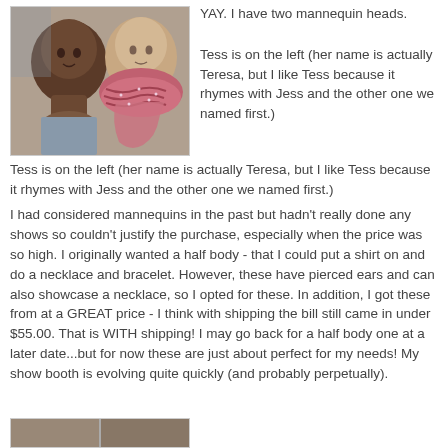[Figure (photo): Two mannequin heads side by side - one with dark skin on left, one wearing a pink/red knitted scarf on right]
YAY. I have two mannequin heads.

Tess is on the left (her name is actually Teresa, but I like Tess because it rhymes with Jess and the other one we named first.)
I had considered mannequins in the past but hadn't really done any shows so couldn't justify the purchase, especially when the price was so high. I originally wanted a half body - that I could put a shirt on and do a necklace and bracelet. However, these have pierced ears and can also showcase a necklace, so I opted for these. In addition, I got these from at a GREAT price - I think with shipping the bill still came in under $55.00. That is WITH shipping! I may go back for a half body one at a later date...but for now these are just about perfect for my needs! My show booth is evolving quite quickly (and probably perpetually).
[Figure (photo): Partial view of another photo at the bottom of the page]